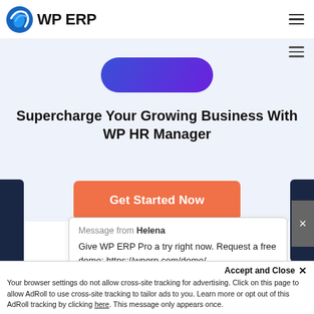WP ERP
[Figure (logo): WP ERP logo with blue swirl icon and WP ERP text]
Supercharge Your Growing Business With WP HR Manager
[Figure (screenshot): Orange 'Get Started Now' button]
Message from Helena
Give WP ERP Pro a try right now. Request a free demo: https://wperp.com/demo/
Accept and Close ×
Your browser settings do not allow cross-site tracking for advertising. Click on this page to allow AdRoll to use cross-site tracking to tailor ads to you. Learn more or opt out of this AdRoll tracking by clicking here. This message only appears once.